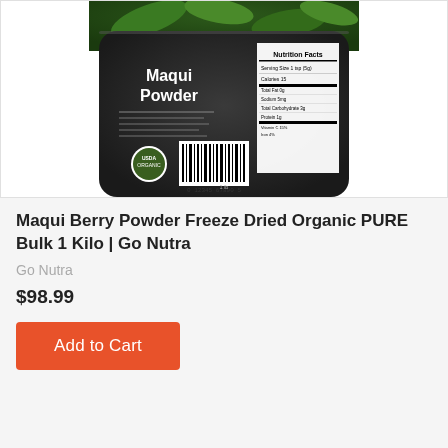[Figure (photo): Product photo showing the back of a dark gray pouch of Maqui Powder with 'Nutrition Facts' panel, USDA Organic seal, barcode, and green leaves in the background.]
Maqui Berry Powder Freeze Dried Organic PURE Bulk 1 Kilo | Go Nutra
Go Nutra
$98.99
Add to Cart